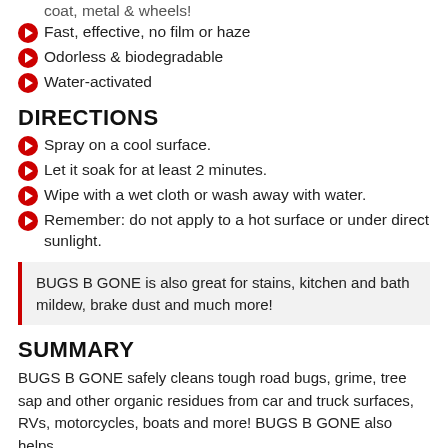coat, metal & wheels!
Fast, effective, no film or haze
Odorless & biodegradable
Water-activated
DIRECTIONS
Spray on a cool surface.
Let it soak for at least 2 minutes.
Wipe with a wet cloth or wash away with water.
Remember: do not apply to a hot surface or under direct sunlight.
BUGS B GONE is also great for stains, kitchen and bath mildew, brake dust and much more!
SUMMARY
BUGS B GONE safely cleans tough road bugs, grime, tree sap and other organic residues from car and truck surfaces, RVs, motorcycles, boats and more! BUGS B GONE also helps